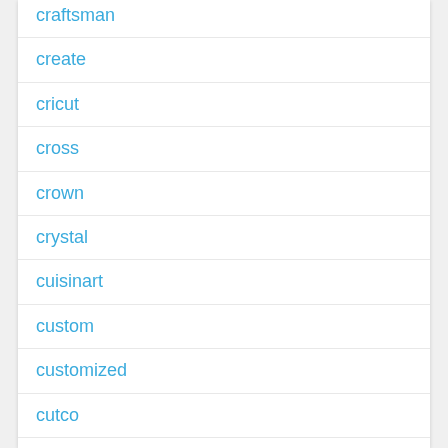craftsman
create
cricut
cross
crown
crystal
cuisinart
custom
customized
cutco
cutting
dado
damascus